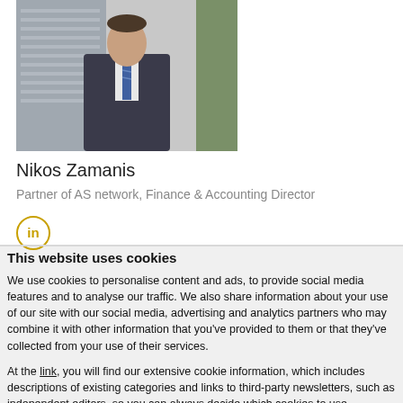[Figure (photo): Portrait photo of a man in a dark suit with a striped tie, standing in front of office blinds and greenery.]
Nikos Zamanis
Partner of AS network, Finance & Accounting Director
[Figure (logo): LinkedIn logo icon — circular gold/yellow outline with 'in' text inside.]
This website uses cookies
We use cookies to personalise content and ads, to provide social media features and to analyse our traffic. We also share information about your use of our site with our social media, advertising and analytics partners who may combine it with other information that you've provided to them or that they've collected from your use of their services.
At the link, you will find our extensive cookie information, which includes descriptions of existing categories and links to third-party newsletters, such as independent editors, so you can always decide which cookies to use.